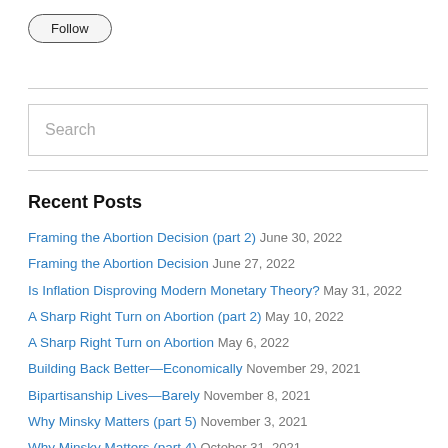[Figure (other): Follow button with rounded pill shape border]
[Figure (other): Search input box with placeholder text 'Search']
Recent Posts
Framing the Abortion Decision (part 2) June 30, 2022
Framing the Abortion Decision June 27, 2022
Is Inflation Disproving Modern Monetary Theory? May 31, 2022
A Sharp Right Turn on Abortion (part 2) May 10, 2022
A Sharp Right Turn on Abortion May 6, 2022
Building Back Better—Economically November 29, 2021
Bipartisanship Lives—Barely November 8, 2021
Why Minsky Matters (part 5) November 3, 2021
Why Minsky Matters (part 4) October 31, 2021